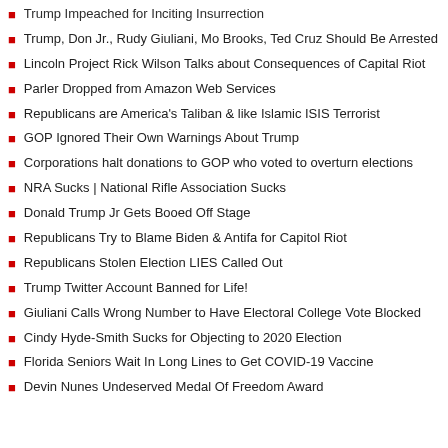Trump Impeached for Inciting Insurrection
Trump, Don Jr., Rudy Giuliani, Mo Brooks, Ted Cruz Should Be Arrested
Lincoln Project Rick Wilson Talks about Consequences of Capital Riot
Parler Dropped from Amazon Web Services
Republicans are America's Taliban & like Islamic ISIS Terrorist
GOP Ignored Their Own Warnings About Trump
Corporations halt donations to GOP who voted to overturn elections
NRA Sucks | National Rifle Association Sucks
Donald Trump Jr Gets Booed Off Stage
Republicans Try to Blame Biden & Antifa for Capitol Riot
Republicans Stolen Election LIES Called Out
Trump Twitter Account Banned for Life!
Giuliani Calls Wrong Number to Have Electoral College Vote Blocked
Cindy Hyde-Smith Sucks for Objecting to 2020 Election
Florida Seniors Wait In Long Lines to Get COVID-19 Vaccine
Devin Nunes Undeserved Medal Of Freedom Award